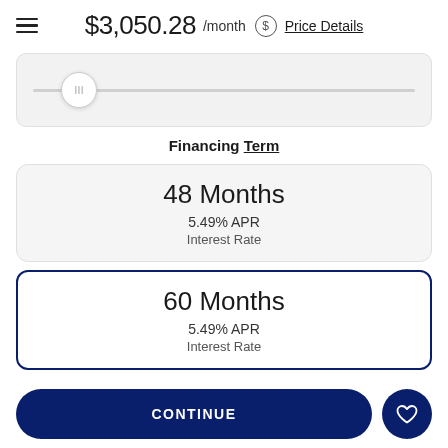$3,050.28 /month Price Details
[Figure (infographic): A horizontal slider UI element with a circular thumb positioned near the left side of the track. The thumb shows three vertical lines icon.]
Financing Term
48 Months
5.49% APR
Interest Rate
60 Months
5.49% APR
Interest Rate
CONTINUE